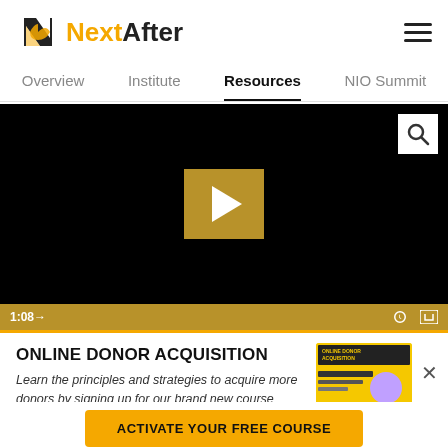[Figure (logo): NextAfter logo with stylized N icon in black and gold, and text 'NextAfter' where 'Next' is in gold and 'After' is in black]
≡
Overview  Institute  Resources  NIO Summit
[Figure (screenshot): Video player with black background showing a golden play button in center, search icon top right, timestamp '1:08→' on gold control bar at bottom with settings and fullscreen icons]
ONLINE DONOR ACQUISITION
Learn the principles and strategies to acquire more donors by signing up for our brand new course
[Figure (illustration): Thumbnail image for Online Donor Acquisition course showing yellow background with text and a person]
ACTIVATE YOUR FREE COURSE